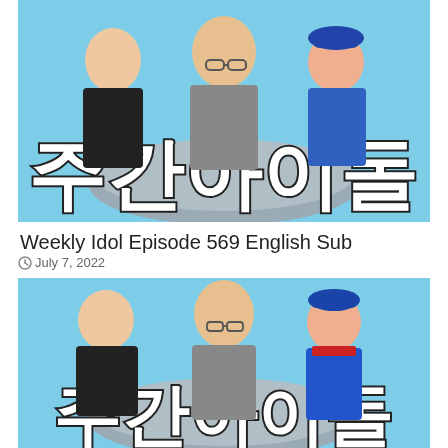[Figure (photo): Weekly Idol TV show promotional image with three hosts on a light blue background with large Korean text '주간아이돌']
Weekly Idol Episode 569 English Sub
July 7, 2022
[Figure (photo): Weekly Idol TV show promotional image (same as above) with three hosts on a light blue background with large Korean text '주간아이돌']